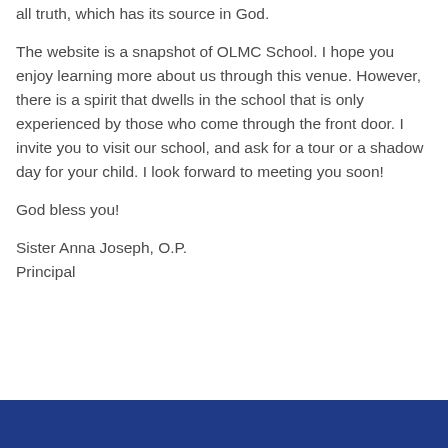all truth, which has its source in God.
The website is a snapshot of OLMC School. I hope you enjoy learning more about us through this venue. However, there is a spirit that dwells in the school that is only experienced by those who come through the front door. I invite you to visit our school, and ask for a tour or a shadow day for your child. I look forward to meeting you soon!
God bless you!
Sister Anna Joseph, O.P.
Principal